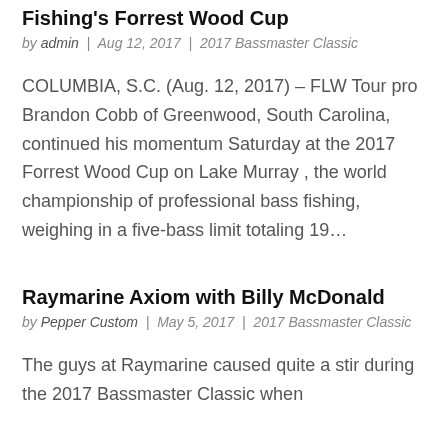Fishing's Forrest Wood Cup
by admin | Aug 12, 2017 | 2017 Bassmaster Classic
COLUMBIA, S.C. (Aug. 12, 2017) – FLW Tour pro Brandon Cobb of Greenwood, South Carolina, continued his momentum Saturday at the 2017 Forrest Wood Cup on Lake Murray , the world championship of professional bass fishing, weighing in a five-bass limit totaling 19...
Raymarine Axiom with Billy McDonald
by Pepper Custom | May 5, 2017 | 2017 Bassmaster Classic
The guys at Raymarine caused quite a stir during the 2017 Bassmaster Classic when